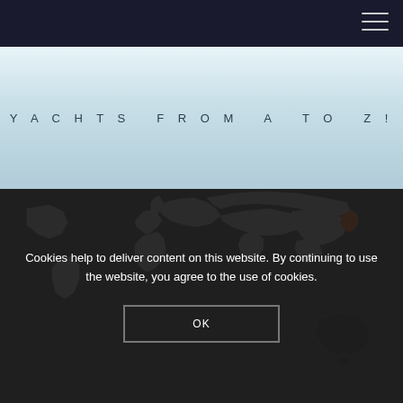Navigation bar with hamburger menu icon
YACHTS FROM A TO Z!
[Figure (map): World map with countries shown in grey, with an orange/red highlighted region on the eastern coast of Asia (Japan/Korea area). Southern hemisphere shows Australia outline in dark. Map displayed on dark background.]
Cookies help to deliver content on this website. By continuing to use the website, you agree to the use of cookies.